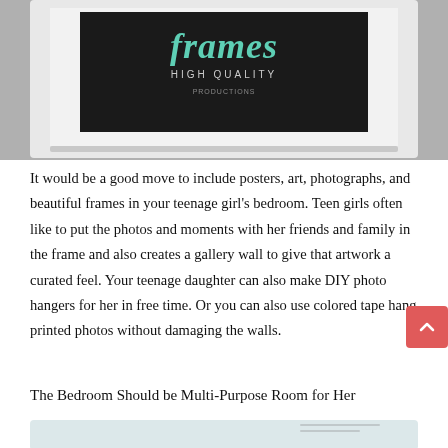[Figure (photo): A white picture frame on a gray wall, containing a dark (black) poster with teal script text reading 'frames HIGH QUALITY' and smaller subtitle text below.]
It would be a good move to include posters, art, photographs, and beautiful frames in your teenage girl's bedroom. Teen girls often like to put the photos and moments with her friends and family in the frame and also creates a gallery wall to give that artwork a curated feel. Your teenage daughter can also make DIY photo hangers for her in free time. Or you can also use colored tape hang printed photos without damaging the walls.
The Bedroom Should be Multi-Purpose Room for Her
[Figure (photo): Partial view of another bedroom photo at the bottom of the page, mostly cut off.]